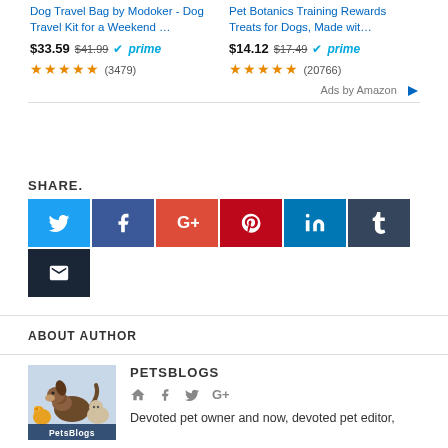[Figure (other): Amazon ad - Dog Travel Bag by Modoker product listing with price $33.59 (was $41.99), Prime badge, and 5-star rating (3479 reviews)]
[Figure (other): Amazon ad - Pet Botanics Training Rewards Treats for Dogs product listing with price $14.12 (was $17.49), Prime badge, and 5-star rating (20766 reviews)]
Ads by Amazon
SHARE.
[Figure (infographic): Social share buttons: Twitter (blue), Facebook (dark blue), Google+ (orange-red), Pinterest (red), LinkedIn (blue), Tumblr (dark slate), Email (dark navy)]
ABOUT AUTHOR
[Figure (logo): PetsBlogs logo with animals illustration]
PETSBLOGS
Devoted pet owner and now, devoted pet editor,